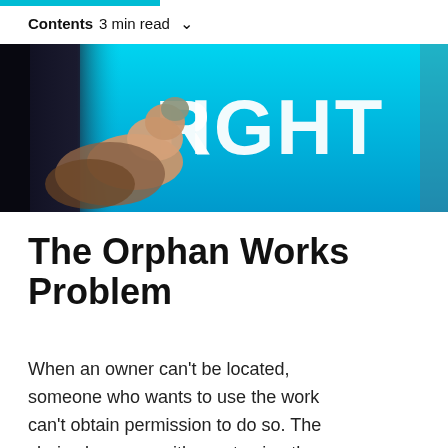Contents  3 min read
[Figure (photo): A finger pressing a touchscreen displaying the word 'RIGHT' in large white letters on a bright blue background]
The Orphan Works Problem
When an owner can't be located, someone who wants to use the work can't obtain permission to do so. The choice becomes either not using the work or using it while understanding